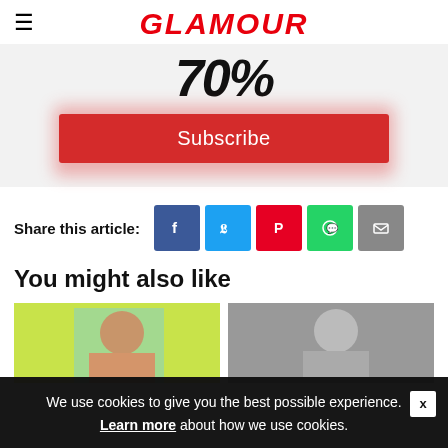GLAMOUR
[Figure (screenshot): Partial text showing '70%' in large italic bold font on a light grey background, with a red Subscribe button below]
Share this article:
[Figure (infographic): Social sharing icons: Facebook (blue), Twitter (light blue), Pinterest (red), WhatsApp (green), Email (grey)]
You might also like
[Figure (photo): Two thumbnail photos side by side: left shows a woman in color against a colorful background, right shows a woman in black and white]
We use cookies to give you the best possible experience. Learn more about how we use cookies.